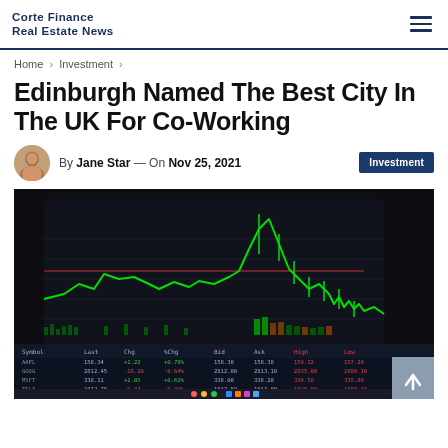Corte Finance / Real Estate News
Home > Investment >
Edinburgh Named The Best City In The UK For Co-Working
By Jane Star — On Nov 25, 2021  Investment
[Figure (photo): A laptop screen displaying a green candlestick stock trading chart against a dark background, with a trading data table below the chart.]